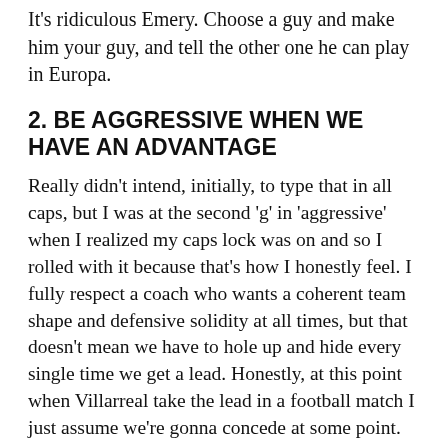It's ridiculous Emery. Choose a guy and make him your guy, and tell the other one he can play in Europa.
2. BE AGGRESSIVE WHEN WE HAVE AN ADVANTAGE
Really didn't intend, initially, to type that in all caps, but I was at the second 'g' in 'aggressive' when I realized my caps lock was on and so I rolled with it because that's how I honestly feel. I fully respect a coach who wants a coherent team shape and defensive solidity at all times, but that doesn't mean we have to hole up and hide every single time we get a lead. Honestly, at this point when Villarreal take the lead in a football match I just assume we're gonna concede at some point. It's inevitable. There's absolutely no killer instinct tactically, and that's a darn shame given how much attacking talent this team has.